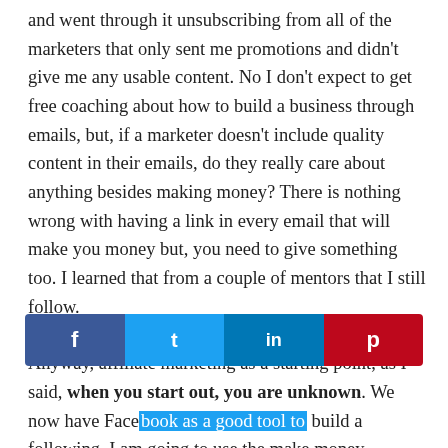and went through it unsubscribing from all of the marketers that only sent me promotions and didn't give me any usable content. No I don't expect to get free coaching about how to build a business through emails, but, if a marketer doesn't include quality content in their emails, do they really care about anything besides making money? There is nothing wrong with having a link in every email that will make you money but, you need to give something too. I learned that from a couple of mentors that I still follow.
Anyway, affiliate marketing as a starting point, as I said, when you start out, you are unknown. We now have Facebook as a good tool to build a following. I am going to use the make money...
[Figure (infographic): Social media share buttons bar showing Facebook (blue), Twitter (light blue), LinkedIn (dark blue), and Pinterest (red) icons.]